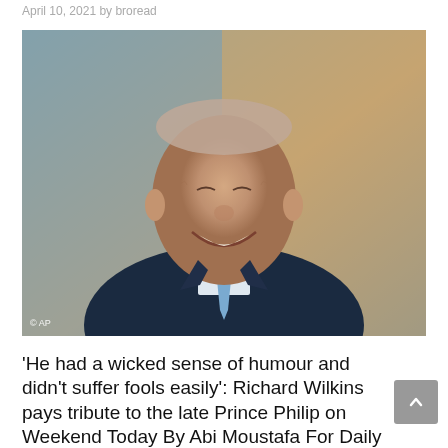April 10, 2021 by broread
[Figure (photo): Elderly man in dark navy suit with blue tie, smiling broadly, photographed against a blurred background. AP photo credit visible in bottom-left corner.]
'He had a wicked sense of humour and didn't suffer fools easily': Richard Wilkins pays tribute to the late Prince Philip on Weekend Today By Abi Moustafa For Daily Mail Australia